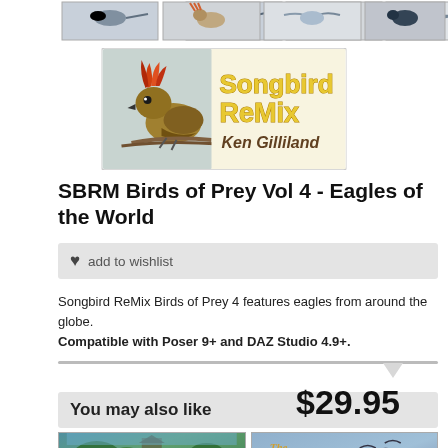[Figure (photo): Row of four bird thumbnail images at top of page]
[Figure (logo): Songbird ReMix logo with bird illustration and text 'Songbird ReMix Ken Gilliland']
SBRM Birds of Prey Vol 4 - Eagles of the World
♥ add to wishlist
Songbird ReMix Birds of Prey 4 features eagles from around the globe. Compatible with Poser 9+ and DAZ Studio 4.9+.
$29.95
You may also like
[Figure (photo): Two preview product images at bottom of page]